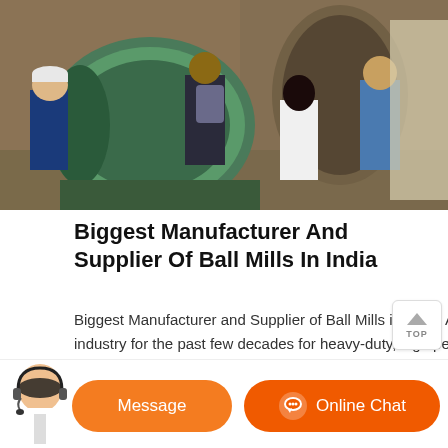[Figure (photo): Workers and visitors inspecting a large industrial ball mill machine in a manufacturing facility. Several people are standing around the green-painted cylindrical mill equipment.]
Biggest Manufacturer And Supplier Of Ball Mills In India
Biggest Manufacturer and Supplier of Ball Mills in India. April 23. Chanderpur Group has been the first choice of leading companies the industry for the past few decades for heavy-duty, high performance, and durable machines for the manufacturing sector, since its inception in 1962. Our key products range from ball mills, classifiers ...
[Figure (other): Customer service agent avatar and chat buttons: Message and Online Chat]